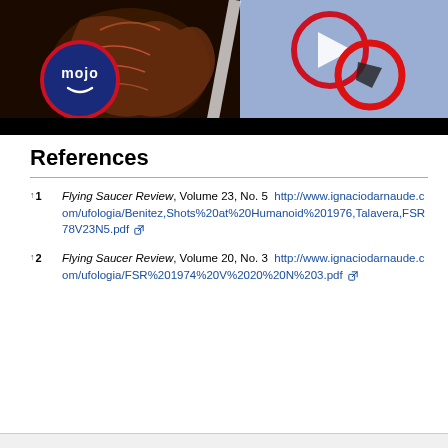[Figure (screenshot): YouTube video thumbnail showing a creature/alien figure on the left with a 'mojo' logo overlay, and a blurred blue background on the right with a red circle highlighting an object.]
References
↑ 1  Flying Saucer Review, Volume 23, No. 5 http://www.ignaciodarnaude.com/ufologia/Benitez,Shots%20at%20Humanoid%201976,Talavera,FSR78V23N5.pdf
↑ 2  Flying Saucer Review, Volume 20, No. 3 http://www.ignaciodarnaude.com/ufologia/FSR%201974%20V%2020%20N%203.pdf